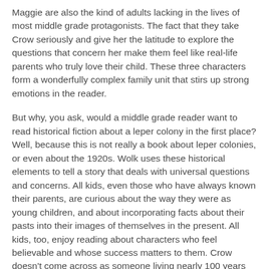Maggie are also the kind of adults lacking in the lives of most middle grade protagonists. The fact that they take Crow seriously and give her the latitude to explore the questions that concern her make them feel like real-life parents who truly love their child. These three characters form a wonderfully complex family unit that stirs up strong emotions in the reader.
But why, you ask, would a middle grade reader want to read historical fiction about a leper colony in the first place? Well, because this is not really a book about leper colonies, or even about the 1920s. Wolk uses these historical elements to tell a story that deals with universal questions and concerns. All kids, even those who have always known their parents, are curious about the way they were as young children, and about incorporating facts about their pasts into their images of themselves in the present. All kids, too, enjoy reading about characters who feel believable and whose success matters to them. Crow doesn't come across as someone living nearly 100 years ago. Instead, she is presented as a spirited girl with an appealing personality and a strong sense of determination that today's kids can easily